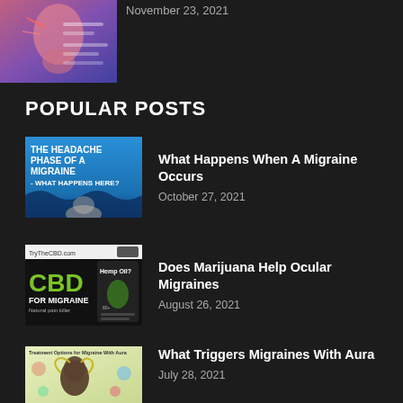[Figure (illustration): Partial view of a migraine-related post thumbnail showing a pink/purple illustrated human head with neural/pain indicators]
November 23, 2021
POPULAR POSTS
[Figure (illustration): Blue background with text 'THE HEADACHE PHASE OF A MIGRAINE - WHAT HAPPENS HERE?' with a wave and human silhouette]
What Happens When A Migraine Occurs
October 27, 2021
[Figure (illustration): CBD for Migraine advertisement with green text on dark background, Hemp Oil product image]
Does Marijuana Help Ocular Migraines
August 26, 2021
[Figure (infographic): Treatment Options for Migraine With Aura infographic showing a woman's profile with colorful illustrated medical diagrams]
What Triggers Migraines With Aura
July 28, 2021